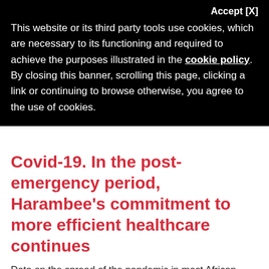Accept [X]
This website or its third party tools use cookies, which are necessary to its functioning and required to achieve the purposes illustrated in the cookie policy. By closing this banner, scrolling this page, clicking a link or continuing to browse otherwise, you agree to the use of cookies.
Covid-19. In the post-emergency period, Harambee's commitment to more efficient healthcare continues
Data on the spread of the pandemic in most African countries are uncertain due to fragile control systems. Available information reports lower morbidity and lethality
6 April 2022 at 11:25
READ MORE